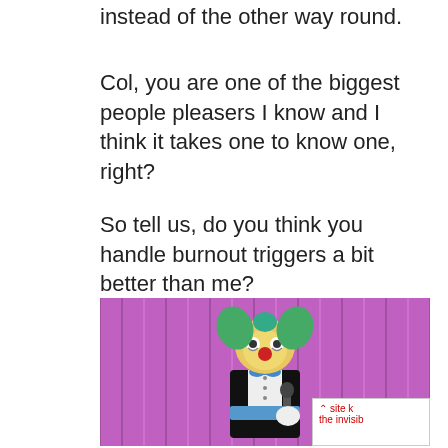instead of the other way round.
Col, you are one of the biggest people pleasers I know and I think it takes one to know one, right?
So tell us, do you think you handle burnout triggers a bit better than me?
[Figure (illustration): Krusty the Clown from The Simpsons standing in front of purple curtains, holding a microphone, wearing a black tuxedo with a blue bow tie and blue cummerbund]
site k the invisib